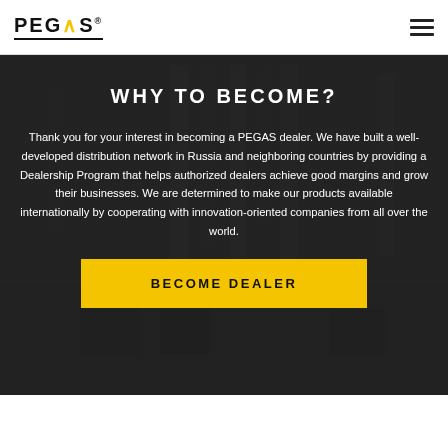PEGAS
WHY TO BECOME?
Thank you for your interest in becoming a PEGAS dealer. We have built a well-developed distribution network in Russia and neighboring countries by providing a Dealership Program that helps authorized dealers achieve good margins and grow their businesses. We are determined to make our products available internationally by cooperating with innovation-oriented companies from all over the world.
BECOME DEALER